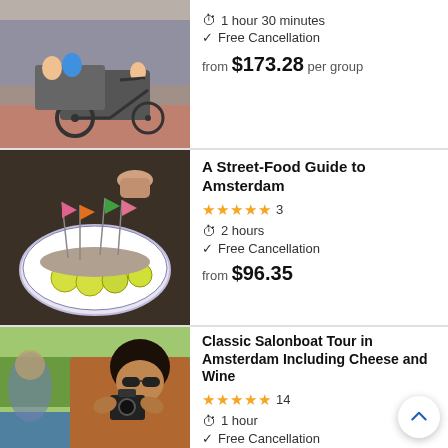[Figure (photo): Cargo bike / rickshaw on Amsterdam bridge with people]
1 hour 30 minutes
Free Cancellation
from $173.28 per group
[Figure (photo): Traditional Dutch herring on a plate with lemon slices and toothpick flags]
A Street-Food Guide to Amsterdam
★★★★★ 3
2 hours
Free Cancellation
from $96.35
[Figure (photo): Woman with sunglasses taking photo on a boat in Amsterdam]
Classic Salonboat Tour in Amsterdam Including Cheese and Wine
★★★★★ 14
1 hour
Free Cancellation